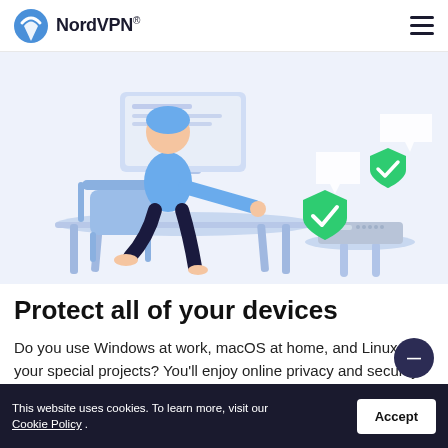NordVPN®
[Figure (illustration): An illustration of a person sitting at a desk working on a computer, with a router on a side table. Two green shield checkmark icons float above, indicating VPN protection. The color palette is light blue and navy.]
Protect all of your devices
Do you use Windows at work, macOS at home, and Linux for your special projects? You'll enjoy online privacy and security on every platform. Ther
This website uses cookies. To learn more, visit our Cookie Policy .